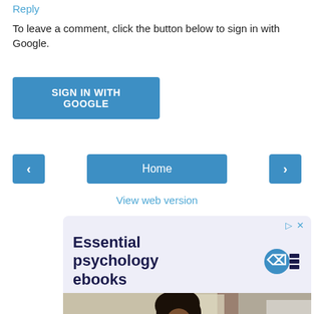Reply
To leave a comment, click the button below to sign in with Google.
SIGN IN WITH GOOGLE
< Home >
View web version
[Figure (screenshot): Advertisement banner with lavender background showing 'Essential psychology ebooks' text with APA logo, and a photo of a woman in a colorful striped sweater working on a laptop in a kitchen.]